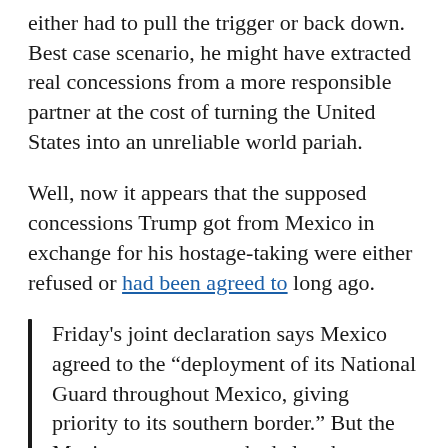either had to pull the trigger or back down. Best case scenario, he might have extracted real concessions from a more responsible partner at the cost of turning the United States into an unreliable world pariah.
Well, now it appears that the supposed concessions Trump got from Mexico in exchange for his hostage-taking were either refused or had been agreed to long ago.
Friday's joint declaration says Mexico agreed to the “deployment of its National Guard throughout Mexico, giving priority to its southern border.” But the Mexican government had already pledged to do that in